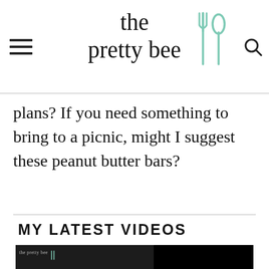the pretty bee
plans? If you need something to bring to a picnic, might I suggest these peanut butter bars?
MY LATEST VIDEOS
[Figure (screenshot): Video player showing an error: 'The video cannot be played in this browser. (Error Code: 242632)']